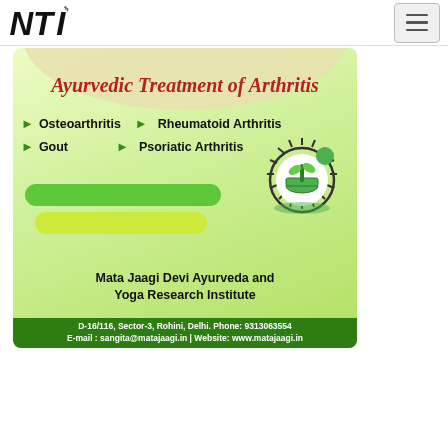NTI logo with hamburger menu
[Figure (infographic): Ayurvedic Treatment of Arthritis advertisement for Mata Jaagi Devi Ayurveda and Yoga Research Institute. Lists conditions: Osteoarthritis, Rheumatoid Arthritis, Gout, Psoriatic Arthritis. Address: D-16/116, Sector-3, Rohini, Delhi. Phone: 9313063554. E-mail: sangita@matajaagi.in | Website: www.matajaagi.in]